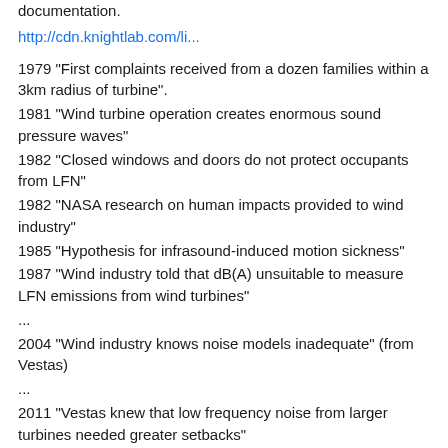documentation.
http://cdn.knightlab.com/li...
1979 "First complaints received from a dozen families within a 3km radius of turbine".
1981 "Wind turbine operation creates enormous sound pressure waves"
1982 "Closed windows and doors do not protect occupants from LFN"
1982 "NASA research on human impacts provided to wind industry"
1985 "Hypothesis for infrasound-induced motion sickness"
1987 "Wind industry told that dB(A) unsuitable to measure LFN emissions from wind turbines"
...
2004 "Wind industry knows noise models inadequate" (from Vestas)
...
2011 "Vestas knew that low frequency noise from larger turbines needed greater setbacks"
1 ^ | v